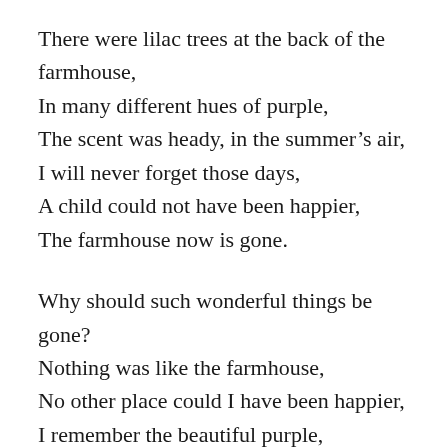There were lilac trees at the back of the farmhouse,
In many different hues of purple,
The scent was heady, in the summer's air,
I will never forget those days,
A child could not have been happier,
The farmhouse now is gone.
Why should such wonderful things be gone?
Nothing was like the farmhouse,
No other place could I have been happier,
I remember the beautiful purple,
And all those heady days,
In the lilac scented air.